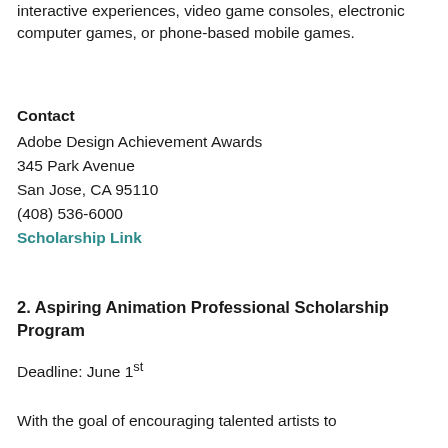interactive experiences, video game consoles, electronic computer games, or phone-based mobile games.
Contact
Adobe Design Achievement Awards
345 Park Avenue
San Jose, CA 95110
(408) 536-6000
Scholarship Link
2. Aspiring Animation Professional Scholarship Program
Deadline: June 1st
With the goal of encouraging talented artists to